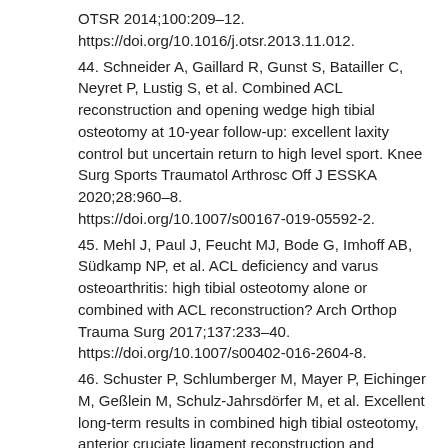OTSR 2014;100:209–12. https://doi.org/10.1016/j.otsr.2013.11.012.
44. Schneider A, Gaillard R, Gunst S, Batailler C, Neyret P, Lustig S, et al. Combined ACL reconstruction and opening wedge high tibial osteotomy at 10-year follow-up: excellent laxity control but uncertain return to high level sport. Knee Surg Sports Traumatol Arthrosc Off J ESSKA 2020;28:960–8. https://doi.org/10.1007/s00167-019-05592-2.
45. Mehl J, Paul J, Feucht MJ, Bode G, Imhoff AB, Südkamp NP, et al. ACL deficiency and varus osteoarthritis: high tibial osteotomy alone or combined with ACL reconstruction? Arch Orthop Trauma Surg 2017;137:233–40. https://doi.org/10.1007/s00402-016-2604-8.
46. Schuster P, Schlumberger M, Mayer P, Eichinger M, Geßlein M, Schulz-Jahrsdörfer M, et al. Excellent long-term results in combined high tibial osteotomy, anterior cruciate ligament reconstruction and chondral resurfacing in patients with severe osteoarthritis and varus alignment. Knee Surg Sports Traumatol Arthrosc Off J ESSKA 2020;28:1085–91. https://doi.org/10.1007/s00167-019-05671-4.
47. Dejour D, Saffarini M, Demey G, Baverel L. Tibial slope